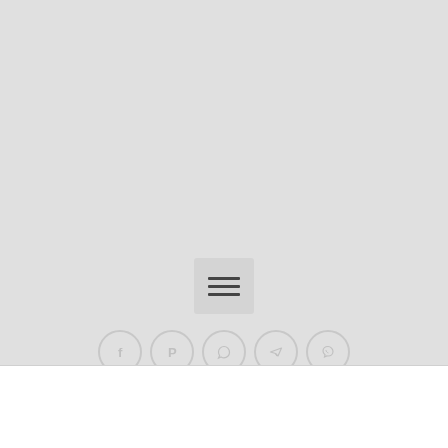[Figure (other): Light gray main content area with a hamburger menu icon (three horizontal lines) centered in a small rectangle, and five social media icon circles (Facebook, Pinterest, WhatsApp, Telegram, Viber) arranged horizontally below]
© Yves Fouquet .